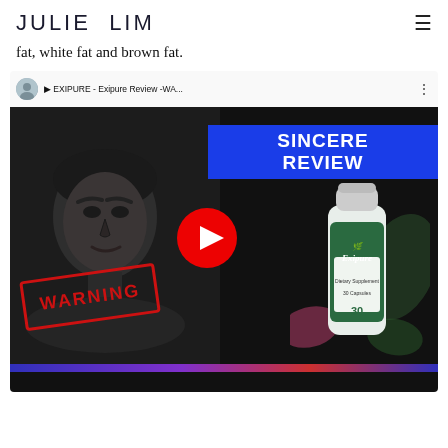JULIE LIM
fat, white fat and brown fat.
[Figure (screenshot): YouTube video thumbnail/player for 'EXIPURE - Exipure Review -WA...' showing a woman in black and white on the left, a blue banner with 'SINCERE REVIEW' text on upper right, a YouTube play button in the center, a WARNING stamp in red on lower left, and an Exipure supplement bottle with tropical leaves on lower right.]